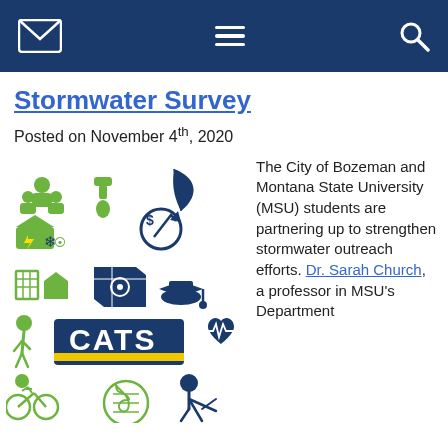Navigation bar with envelope, hamburger menu, and search icons
Stormwater Survey
Posted on November 4th, 2020
[Figure (illustration): CATS program infographic collage showing green icons for community, water faucet, leaf, financial chart, graduation cap, building, house, map, person walking, bicycle rider, DNA helix, person with compass, and CATS logo with heartbeat symbol]
The City of Bozeman and Montana State University (MSU) students are partnering up to strengthen stormwater outreach efforts. Dr. Sarah Church, a professor in MSU's Department